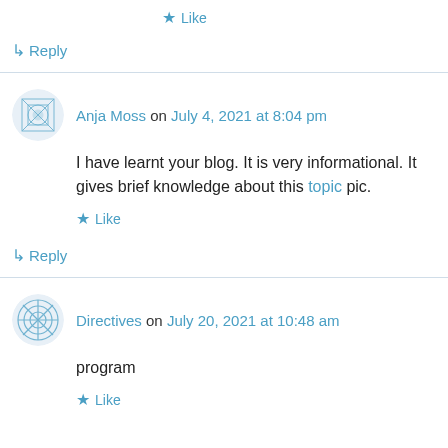★ Like
↳ Reply
Anja Moss on July 4, 2021 at 8:04 pm
I have learnt your blog. It is very informational. It gives brief knowledge about this topic pic.
★ Like
↳ Reply
Directives on July 20, 2021 at 10:48 am
program
★ Like